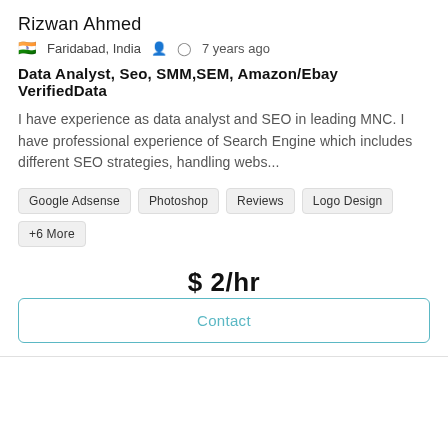Rizwan Ahmed
🇮🇳 Faridabad, India   👤   🕐 7 years ago
Data Analyst, Seo, SMM,SEM, Amazon/Ebay VerifiedData
I have experience as data analyst and SEO in leading MNC. I have professional experience of Search Engine which includes different SEO strategies, handling webs...
Google Adsense
Photoshop
Reviews
Logo Design
+6 More
$ 2/hr
Contact